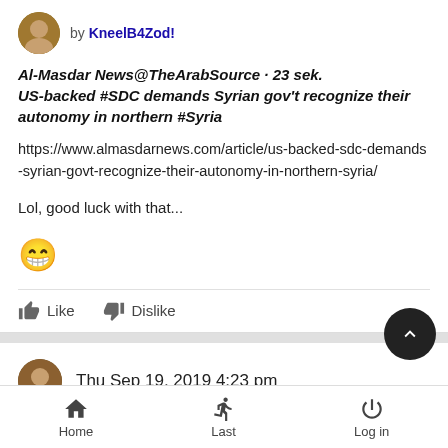by KneelB4Zod!
Al-Masdar News@TheArabSource · 23 sek.
US-backed #SDC demands Syrian gov't recognize their autonomy in northern #Syria
https://www.almasdarnews.com/article/us-backed-sdc-demands-syrian-govt-recognize-their-autonomy-in-northern-syria/
Lol, good luck with that...
[Figure (other): Grinning emoji with sunglasses]
Like   Dislike
Thu Sep 19, 2019 4:23 pm
Home   Last   Log in